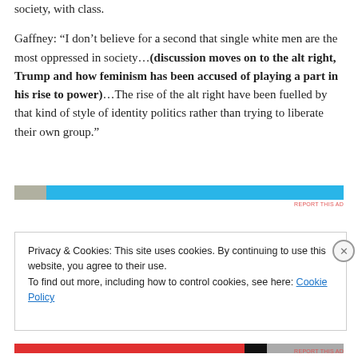society, with class.
Gaffney: “I don’t believe for a second that single white men are the most oppressed in society…(discussion moves on to the alt right, Trump and how feminism has been accused of playing a part in his rise to power)…The rise of the alt right have been fuelled by that kind of style of identity politics rather than trying to liberate their own group.”
[Figure (other): Advertisement banner with image thumbnail and blue bar]
Privacy & Cookies: This site uses cookies. By continuing to use this website, you agree to their use.
To find out more, including how to control cookies, see here: Cookie Policy
Close and accept